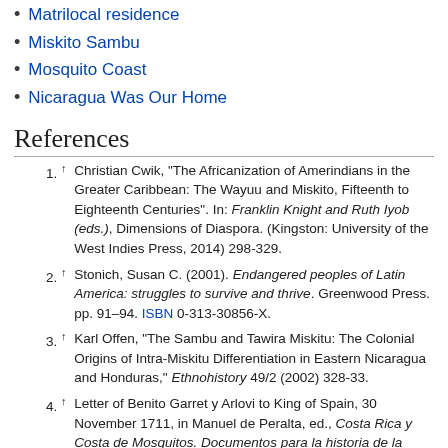Matrilocal residence
Miskito Sambu
Mosquito Coast
Nicaragua Was Our Home
References
1. ↑ Christian Cwik, "The Africanization of Amerindians in the Greater Caribbean: The Wayuu and Miskito, Fifteenth to Eighteenth Centuries". In: Franklin Knight and Ruth Iyob (eds.), Dimensions of Diaspora. (Kingston: University of the West Indies Press, 2014) 298-329.
2. ↑ Stonich, Susan C. (2001). Endangered peoples of Latin America: struggles to survive and thrive. Greenwood Press. pp. 91–94. ISBN 0-313-30856-X.
3. ↑ Karl Offen, "The Sambu and Tawira Miskitu: The Colonial Origins of Intra-Miskitu Differentiation in Eastern Nicaragua and Honduras," Ethnohistory 49/2 (2002) 328-33.
4. ↑ Letter of Benito Garret y Arlovi to King of Spain, 30 November 1711, in Manuel de Peralta, ed., Costa Rica y Costa de Mosquitos. Documentos para la historia de la jurisdicción territorial de Costa Rica y Colombia (Paris, 1898), pp. 57–58 Garret y Arlovi had gotten